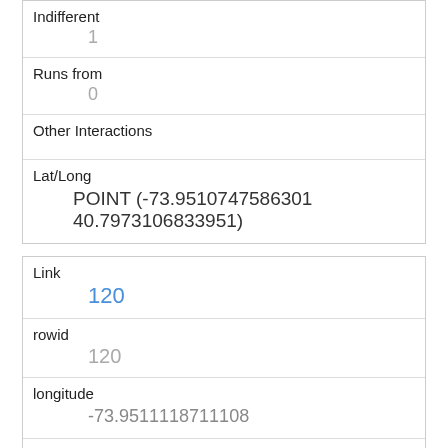| Indifferent | 1 |
| Runs from | 0 |
| Other Interactions |  |
| Lat/Long | POINT (-73.9510747586301 40.7973106833951) |
| Link | 120 |
| rowid | 120 |
| longitude | -73.9511118711108 |
| latitude | 40.7950813345902 |
| Unique Squirrel ID | 40I-AM-1018-01 |
| Hectare |  |